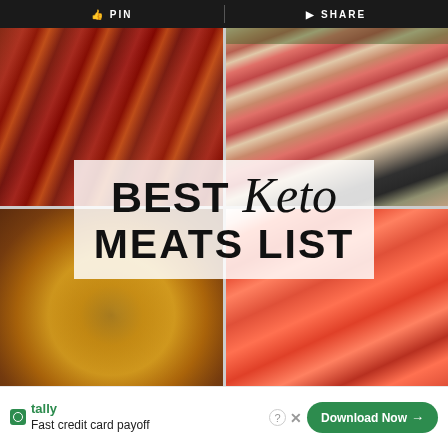PIN | SHARE
[Figure (photo): Food collage: top-left crispy bacon strips, top-right sliced grilled steak with herbs, bottom-left roasted chicken, bottom-right fresh salmon fillets. Overlay text reads BEST Keto MEATS LIST]
BEST Keto MEATS LIST
tally - Fast credit card payoff - Download Now